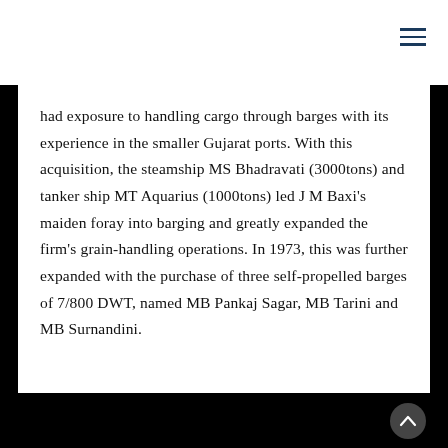had exposure to handling cargo through barges with its experience in the smaller Gujarat ports. With this acquisition, the steamship MS Bhadravati (3000tons) and tanker ship MT Aquarius (1000tons) led J M Baxi's maiden foray into barging and greatly expanded the firm's grain-handling operations. In 1973, this was further expanded with the purchase of three self-propelled barges of 7/800 DWT, named MB Pankaj Sagar, MB Tarini and MB Surnandini.